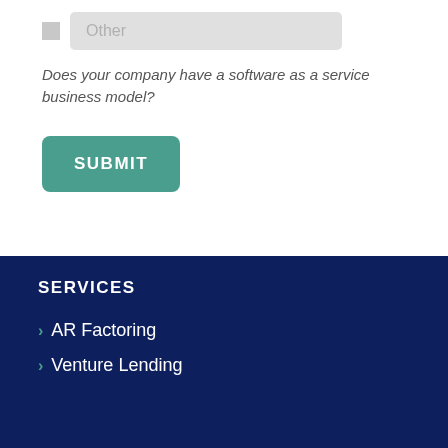Other
Does your company have a software as a service business model?
SUBMIT
SERVICES
> AR Factoring
> Venture Lending